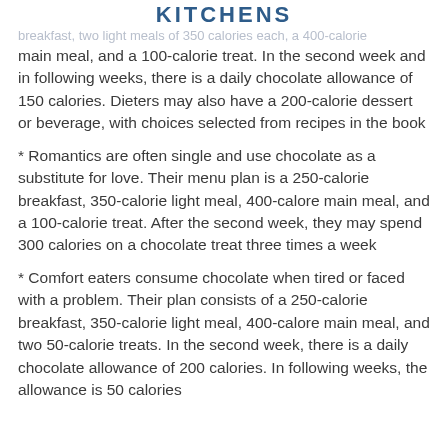KITCHENS
breakfast, two light meals of 350 calories each, a 400-calorie main meal, and a 100-calorie treat. In the second week and in following weeks, there is a daily chocolate allowance of 150 calories. Dieters may also have a 200-calorie dessert or beverage, with choices selected from recipes in the book
* Romantics are often single and use chocolate as a substitute for love. Their menu plan is a 250-calorie breakfast, 350-calorie light meal, 400-calore main meal, and a 100-calorie treat. After the second week, they may spend 300 calories on a chocolate treat three times a week
* Comfort eaters consume chocolate when tired or faced with a problem. Their plan consists of a 250-calorie breakfast, 350-calorie light meal, 400-calore main meal, and two 50-calorie treats. In the second week, there is a daily chocolate allowance of 200 calories. In following weeks, the allowance is 50 calories